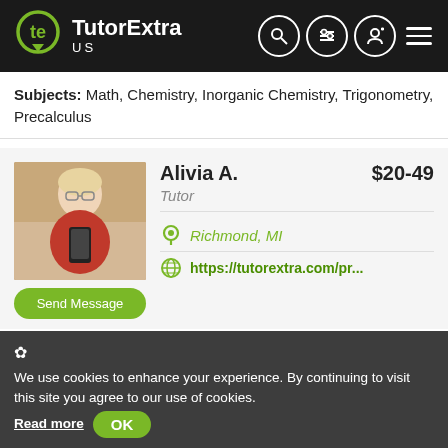TutorExtra US
Subjects: Math, Chemistry, Inorganic Chemistry, Trigonometry, Precalculus
Alivia A. $20-49 Tutor Richmond, MI https://tutorextra.com/pr...
I can tutor elementary, and middle school students. For high-school students, I can tutor in pre-algebra, English 9-12,...
Subjects: Chemistry, Psychology, Anatomy, Basic Math, Social Studies
We use cookies to enhance your experience. By continuing to visit this site you agree to our use of cookies. Read more OK